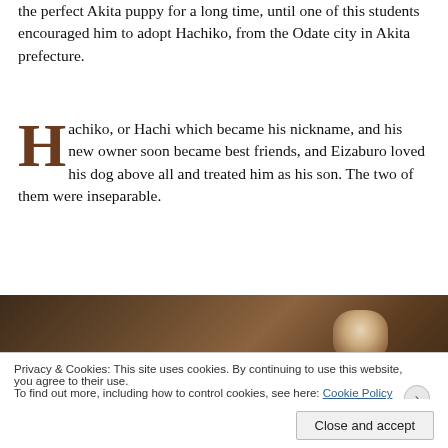the perfect Akita puppy for a long time, until one of this students encouraged him to adopt Hachiko, from the Odate city in Akita prefecture.
Hachiko, or Hachi which became his nickname, and his new owner soon became best friends, and Eizaburo loved his dog above all and treated him as his son. The two of them were inseparable.
[Figure (photo): Sepia-toned historical photograph showing what appears to be a dog (Hachiko), partially visible on the right side of the frame against a dark background.]
Privacy & Cookies: This site uses cookies. By continuing to use this website, you agree to their use.
To find out more, including how to control cookies, see here: Cookie Policy
Close and accept